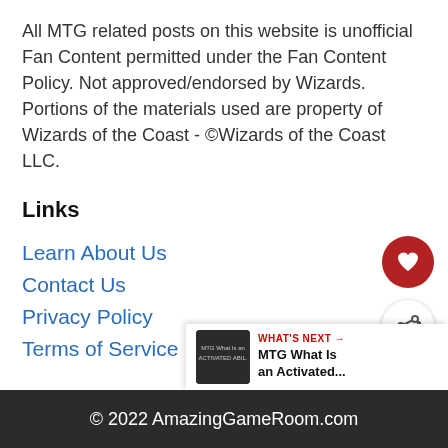All MTG related posts on this website is unofficial Fan Content permitted under the Fan Content Policy. Not approved/endorsed by Wizards. Portions of the materials used are property of Wizards of the Coast - ©Wizards of the Coast LLC.
Links
Learn About Us
Contact Us
Privacy Policy
Terms of Service
[Figure (infographic): What's Next panel showing thumbnail and text: WHAT'S NEXT → MTG What Is an Activated...]
© 2022 AmazingGameRoom.com